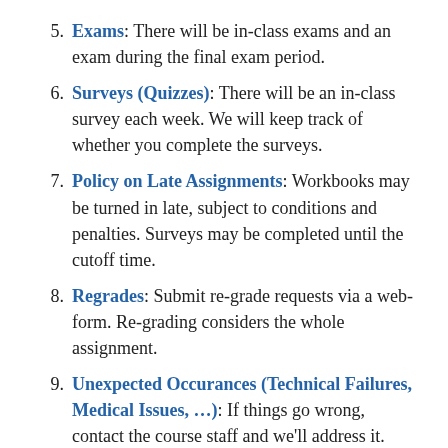5. Exams: There will be in-class exams and an exam during the final exam period.
6. Surveys (Quizzes): There will be an in-class survey each week. We will keep track of whether you complete the surveys.
7. Policy on Late Assignments: Workbooks may be turned in late, subject to conditions and penalties. Surveys may be completed until the cutoff time.
8. Regrades: Submit re-grade requests via a web-form. Re-grading considers the whole assignment.
9. Unexpected Occurances (Technical Failures, Medical Issues, …): If things go wrong, contact the course staff and we'll address it.
10. Collaboration and Academic Conduct: All